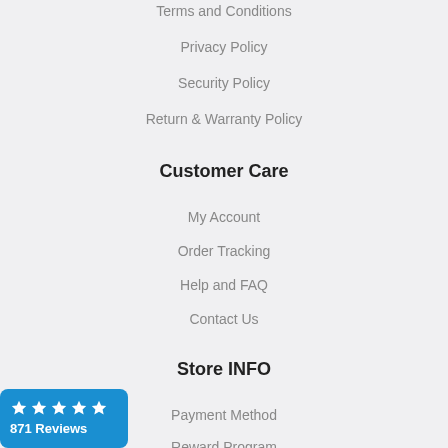Terms and Conditions
Privacy Policy
Security Policy
Return & Warranty Policy
Customer Care
My Account
Order Tracking
Help and FAQ
Contact Us
Store INFO
Payment Method
Reward Program
[Figure (infographic): Blue rating badge showing 5 stars and 871 Reviews]